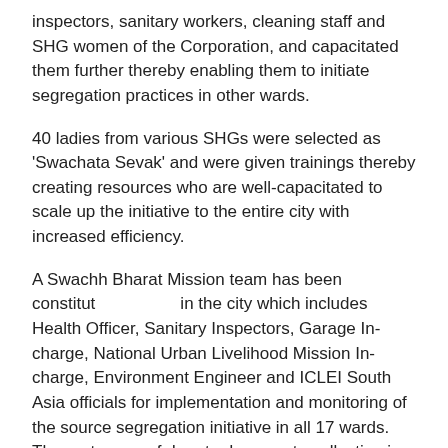inspectors, sanitary workers, cleaning staff and SHG women of the Corporation, and capacitated them further thereby enabling them to initiate segregation practices in other wards.
40 ladies from various SHGs were selected as 'Swachata Sevak' and were given trainings thereby creating resources who are well-capacitated to scale up the initiative to the entire city with increased efficiency.
A Swachh Bharat Mission team has been constituted in the city which includes Health Officer, Sanitary Inspectors, Garage In-charge, National Urban Livelihood Mission In-charge, Environment Engineer and ICLEI South Asia officials for implementation and monitoring of the source segregation initiative in all 17 wards. The route map of door to door waste collection in Ward 1 and 41 has also been prepared to improve the efficiency in transportation of solid waste.